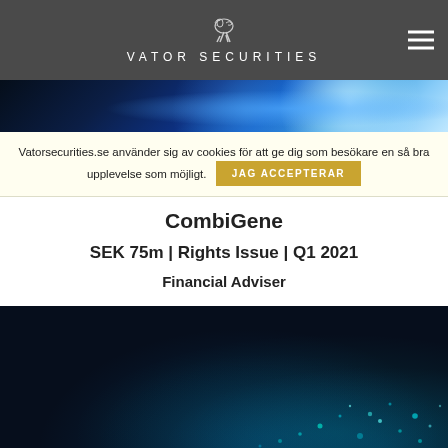VATOR SECURITIES
[Figure (photo): Dark blue abstract background with glowing blue light nodes and connections]
Vatorsecurities.se använder sig av cookies för att ge dig som besökare en så bra upplevelse som möjligt. JAG ACCEPTERAR
CombiGene
SEK 75m | Rights Issue | Q1 2021
Financial Adviser
[Figure (photo): Dark background with teal and blue glowing particle bokeh effect resembling a galaxy or digital data visualization]